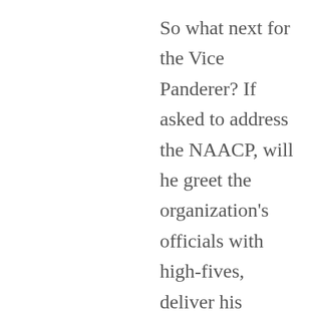So what next for the Vice Panderer? If asked to address the NAACP, will he greet the organization's officials with high-fives, deliver his